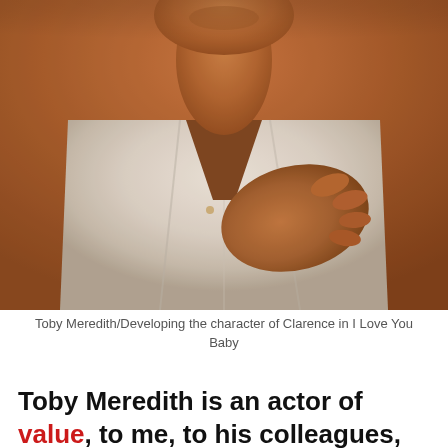[Figure (photo): A person wearing a white loose shirt with hand placed on chest, warm amber/orange toned background, showing neck and chin area, torso shot]
Toby Meredith/Developing the character of Clarence in I Love You Baby
Toby Meredith is an actor of value, to me, to his colleagues, to process...